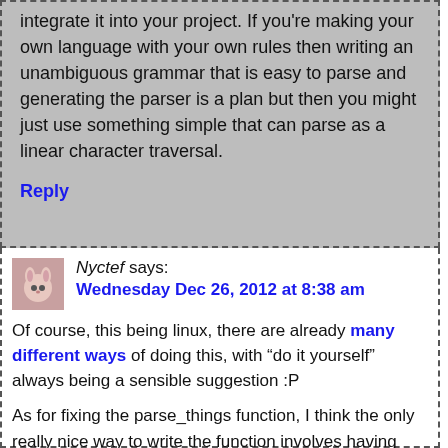integrate it into your project. If you're making your own language with your own rules then writing an unambiguous grammar that is easy to parse and generating the parser is a plan but then you might just use something simple that can parse as a linear character traversal.
Reply
Nyctefsays: Wednesday Dec 26, 2012 at 8:38 am
Of course, this being linux, there are already many different ways of doing this, with “do it yourself” always being a sensible suggestion :P
As for fixing the parse_things function, I think the only really nice way to write the function involves having some sort of automatic memory management for thing1/2/3 so